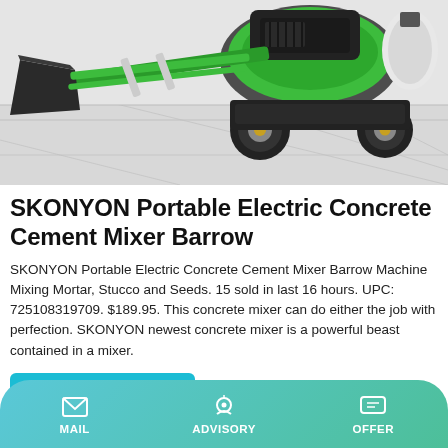[Figure (photo): Green SKONYON portable electric concrete cement mixer machine on a light tile floor]
SKONYON Portable Electric Concrete Cement Mixer Barrow
SKONYON Portable Electric Concrete Cement Mixer Barrow Machine Mixing Mortar, Stucco and Seeds. 15 sold in last 16 hours. UPC: 725108319709. $189.95. This concrete mixer can do either the job with perfection. SKONYON newest concrete mixer is a powerful beast contained in a mixer.
Learn More
[Figure (photo): Partial view of another product with blue sky background]
MAIL   ADVISORY   OFFER